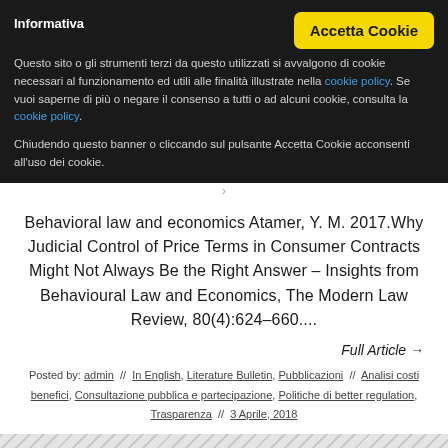Informativa
Questo sito o gli strumenti terzi da questo utilizzati si avvalgono di cookie necessari al funzionamento ed utili alle finalità illustrate nella cookie policy. Se vuoi saperne di più o negare il consenso a tutti o ad alcuni cookie, consulta la cookie policy.
Chiudendo questo banner o cliccando sul pulsante Accetta Cookie acconsenti all'uso dei cookie.
Behavioral law and economics Atamer, Y. M. 2017.Why Judicial Control of Price Terms in Consumer Contracts Might Not Always Be the Right Answer – Insights from Behavioural Law and Economics, The Modern Law Review, 80(4):624–660....
Full Article →
Posted by: admin // In English, Literature Bulletin, Pubblicazioni // Analisi costi benefici, Consultazione pubblica e partecipazione, Politiche di better regulation, Trasparenza // 3 Aprile, 2018